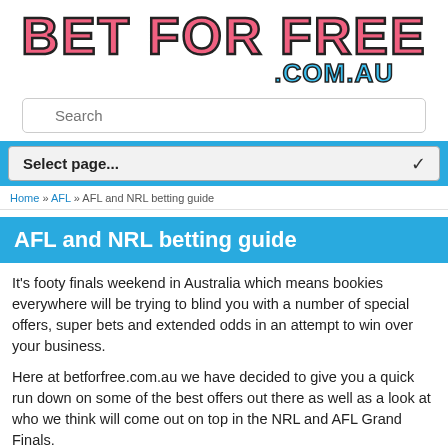[Figure (logo): BET FOR FREE .COM.AU logo in pink bubble letters with dark outline, domain in blue]
Search
Select page...
Home » AFL » AFL and NRL betting guide
AFL and NRL betting guide
It's footy finals weekend in Australia which means bookies everywhere will be trying to blind you with a number of special offers, super bets and extended odds in an attempt to win over your business.
Here at betforfree.com.au we have decided to give you a quick run down on some of the best offers out there as well as a look at who we think will come out on top in the NRL and AFL Grand Finals.